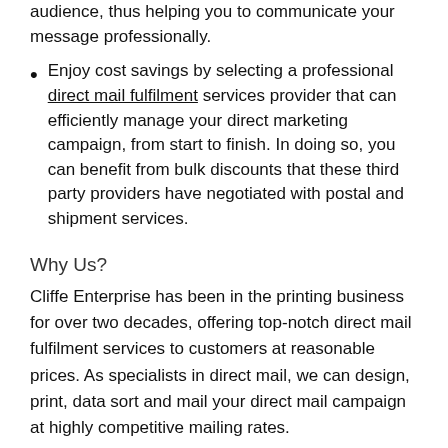audience, thus helping you to communicate your message professionally.
Enjoy cost savings by selecting a professional direct mail fulfilment services provider that can efficiently manage your direct marketing campaign, from start to finish. In doing so, you can benefit from bulk discounts that these third party providers have negotiated with postal and shipment services.
Why Us?
Cliffe Enterprise has been in the printing business for over two decades, offering top-notch direct mail fulfilment services to customers at reasonable prices. As specialists in direct mail, we can design, print, data sort and mail your direct mail campaign at highly competitive mailing rates.